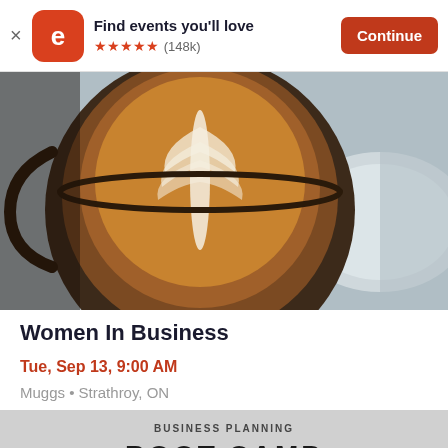Find events you'll love ★★★★★ (148k) Continue
[Figure (photo): Close-up photo of a latte art coffee in a dark ceramic cup with a leaf pattern in the foam, on a white saucer]
Women In Business
Tue, Sep 13, 9:00 AM
Muggs • Strathroy, ON
Free
[Figure (photo): Partially visible black and white photo of a business planning event with text BUSINESS PLANNING BOOT CAMP]